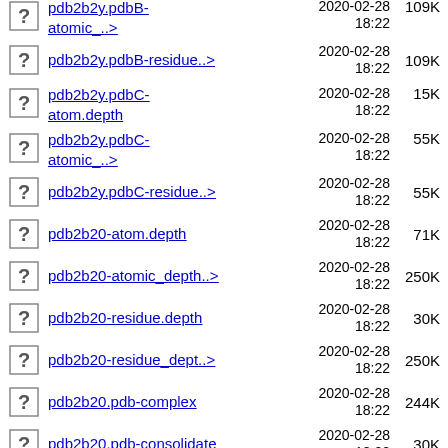pdb2b2y.pdbB-atomic_..> 2020-02-28 18:22 109K
pdb2b2y.pdbB-residue..> 2020-02-28 18:22 109K
pdb2b2y.pdbC-atom.depth 2020-02-28 18:22 15K
pdb2b2y.pdbC-atomic_..> 2020-02-28 18:22 55K
pdb2b2y.pdbC-residue..> 2020-02-28 18:22 55K
pdb2b20-atom.depth 2020-02-28 18:22 71K
pdb2b20-atomic_depth..> 2020-02-28 18:22 250K
pdb2b20-residue.depth 2020-02-28 18:22 30K
pdb2b20-residue_dept..> 2020-02-28 18:22 250K
pdb2b20.pdb-complex 2020-02-28 18:22 244K
pdb2b20.pdb-consolidate 2020-02-28 18:22 30K
pdb2b20.pdbA- 2020-02-28 71K